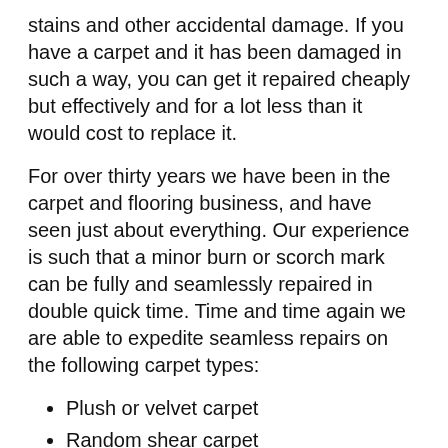stains and other accidental damage. If you have a carpet and it has been damaged in such a way, you can get it repaired cheaply but effectively and for a lot less than it would cost to replace it.
For over thirty years we have been in the carpet and flooring business, and have seen just about everything. Our experience is such that a minor burn or scorch mark can be fully and seamlessly repaired in double quick time. Time and time again we are able to expedite seamless repairs on the following carpet types:
Plush or velvet carpet
Random shear carpet
Frieze carpet styles
Cut-loop carpet
This is by no means an exhaustive list; carpet repair is a cost effective alternative to carpet